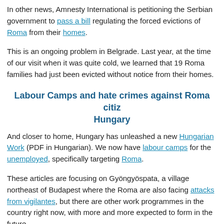In other news, Amnesty International is petitioning the Serbian government to pass a bill regulating the forced evictions of Roma from their homes.
This is an ongoing problem in Belgrade. Last year, at the time of our visit when it was quite cold, we learned that 19 Roma families had just been evicted without notice from their homes.
Labour Camps and hate crimes against Roma citizens in Hungary
And closer to home, Hungary has unleashed a new Hungarian Work Act (PDF in Hungarian). We now have labour camps for the unemployed, specifically targeting Roma.
These articles are focusing on Gyöngyöspata, a village northeast of Budapest where the Roma are also facing attacks from vigilantes, but there are other work programmes in the country right now, with more and more expected to form in the future.